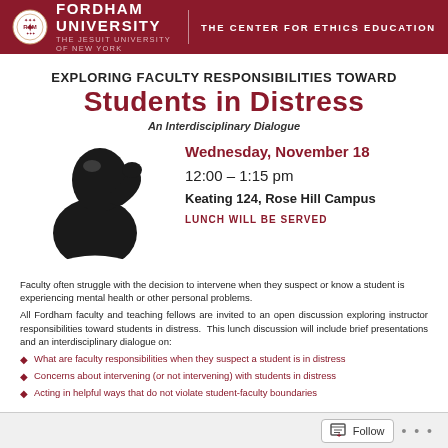FORDHAM UNIVERSITY | THE JESUIT UNIVERSITY OF NEW YORK | THE CENTER FOR ETHICS EDUCATION
EXPLORING FACULTY RESPONSIBILITIES TOWARD STUDENTS IN DISTRESS
An Interdisciplinary Dialogue
[Figure (illustration): Black silhouette of a person with head bowed and hand raised to face, suggesting distress]
Wednesday, November 18
12:00 – 1:15 pm
Keating 124, Rose Hill Campus
LUNCH WILL BE SERVED
Faculty often struggle with the decision to intervene when they suspect or know a student is experiencing mental health or other personal problems.
All Fordham faculty and teaching fellows are invited to an open discussion exploring instructor responsibilities toward students in distress. This lunch discussion will include brief presentations and an interdisciplinary dialogue on:
What are faculty responsibilities when they suspect a student is in distress
Concerns about intervening (or not intervening) with students in distress
Acting in helpful ways that do not violate student-faculty boundaries